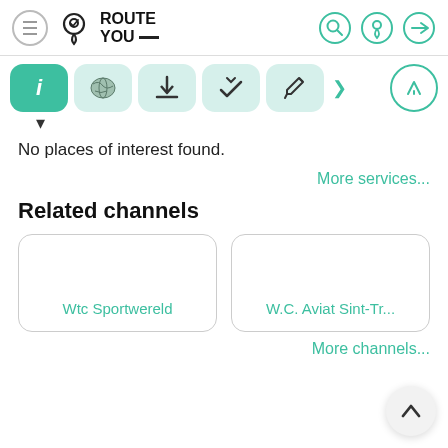[Figure (screenshot): RouteYou app header with hamburger menu, RouteYou logo, and three icon buttons (search, location, login) on the right]
[Figure (screenshot): Tab bar with 5 icon buttons: info (active/green), world map, download, upload/check, edit pencil. A navigation arrow icon on the far right.]
No places of interest found.
More services...
Related channels
[Figure (screenshot): Two channel cards: 'Wtc Sportwereld' and 'W.C. Aviat Sint-Tr...']
More channels...